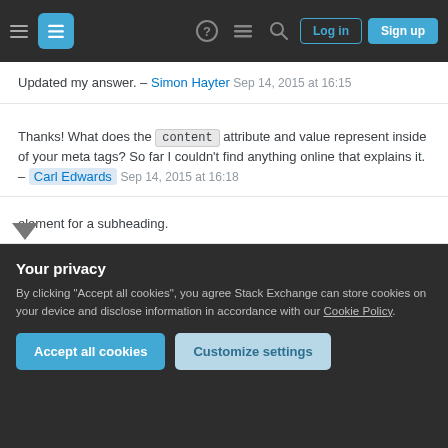Stack Exchange navigation bar with Log in and Sign up buttons
Updated my answer. – Simon Hayter Sep 14, 2015 at 16:15
Thanks! What does the content attribute and value represent inside of your meta tags? So far I couldn't find anything online that explains it. – Carl Edwards Sep 14, 2015 at 16:18
Updated yet again... – Simon Hayter Sep 14, 2015 at 16:22
Marking this as correct as it's exactly what I'm looking for. Also +1 for providing such a detailed answer. Thanks again! – Carl Edwards Sep 14, 2015 at 16:25
Your privacy
By clicking "Accept all cookies", you agree Stack Exchange can store cookies on your device and disclose information in accordance with our Cookie Policy.
Accept all cookies   Customize settings
element for a subheading.